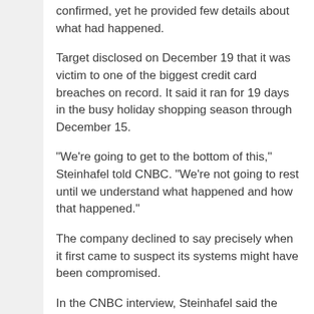confirmed, yet he provided few details about what had happened.
Target disclosed on December 19 that it was victim to one of the biggest credit card breaches on record. It said it ran for 19 days in the busy holiday shopping season through December 15.
"We're going to get to the bottom of this," Steinhafel told CNBC. "We're not going to rest until we understand what happened and how that happened."
The company declined to say precisely when it first came to suspect its systems might have been compromised.
In the CNBC interview, Steinhafel said the company "confirmed" that it had been victim of a breach on December 15, but he provided no